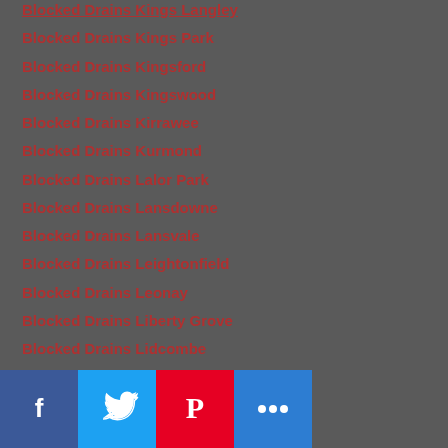Blocked Drains Kings Langley
Blocked Drains Kings Park
Blocked Drains Kingsford
Blocked Drains Kingswood
Blocked Drains Kirrawee
Blocked Drains Kurmond
Blocked Drains Lalor Park
Blocked Drains Lansdowne
Blocked Drains Lansvale
Blocked Drains Leightonfield
Blocked Drains Leonay
Blocked Drains Liberty Grove
Blocked Drains Lidcombe
Blocked Drains Lilli Pilli
Blocked Drains Little Bay
Blocked Drains Liverpool
Blocked Drains Long Point
Blocked Drains Long…th Shore
Blocked Drains Lugarno